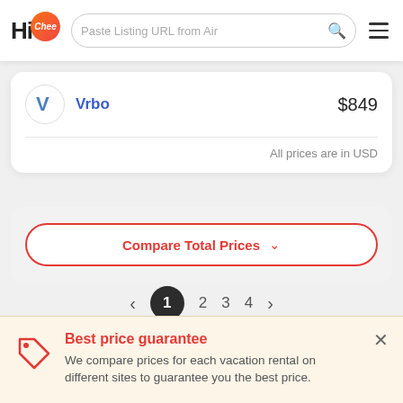[Figure (screenshot): HiChee app header with logo, search bar with placeholder 'Paste Listing URL from Air', search icon, and hamburger menu]
Vrbo  $849
All prices are in USD
Compare Total Prices
1 2 3 4
Best price guarantee
We compare prices for each vacation rental on different sites to guarantee you the best price.